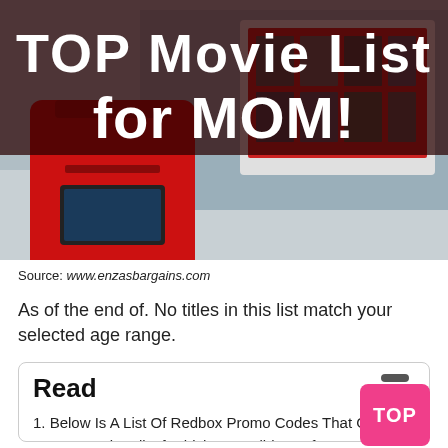[Figure (photo): Photo of a red Redbox kiosk outside a store in winter, with a dark semi-transparent overlay banner at the top reading 'TOP Movie List for MOM!' in white text]
Source: www.enzasbargains.com
As of the end of. No titles in this list match your selected age range.
Read
1. Below Is A List Of Redbox Promo Codes That Get You A Free Movie, All Of Which Are Valid As Of